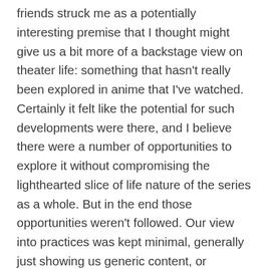friends struck me as a potentially interesting premise that I thought might give us a bit more of a backstage view on theater life: something that hasn't really been explored in anime that I've watched. Certainly it felt like the potential for such developments were there, and I believe there were a number of opportunities to explore it without compromising the lighthearted slice of life nature of the series as a whole. But in the end those opportunities weren't followed. Our view into practices was kept minimal, generally just showing us generic content, or focusing on non-practice conversations and such, while the actual plays happen almost entirely offscreen as well. As this happened time and